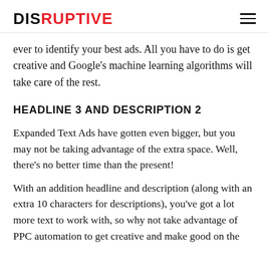DISRUPTIVE
ever to identify your best ads. All you have to do is get creative and Google's machine learning algorithms will take care of the rest.
HEADLINE 3 AND DESCRIPTION 2
Expanded Text Ads have gotten even bigger, but you may not be taking advantage of the extra space. Well, there's no better time than the present!
With an addition headline and description (along with an extra 10 characters for descriptions), you've got a lot more text to work with, so why not take advantage of PPC automation to get creative and make good on the